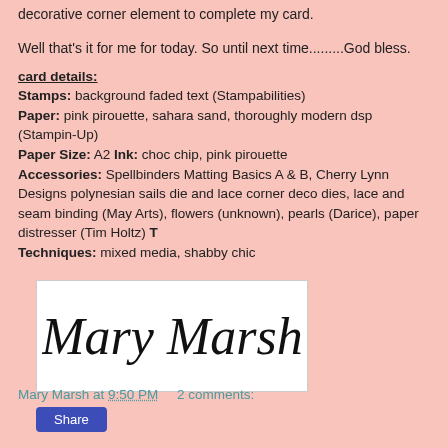decorative corner element to complete my card.
Well that's it for me for today. So until next time.........God bless.
card details:
Stamps: background faded text (Stampabilities)
Paper: pink pirouette, sahara sand, thoroughly modern dsp (Stampin-Up)
Paper Size: A2 Ink: choc chip, pink pirouette
Accessories: Spellbinders Matting Basics A & B, Cherry Lynn Designs polynesian sails die and lace corner deco dies, lace and seam binding (May Arts), flowers (unknown), pearls (Darice), paper distresser (Tim Holtz) T
Techniques: mixed media, shabby chic
[Figure (illustration): Handwritten cursive signature reading 'Mary Marsh' on a white rectangular card]
Mary Marsh at 9:50 PM    2 comments:
Share